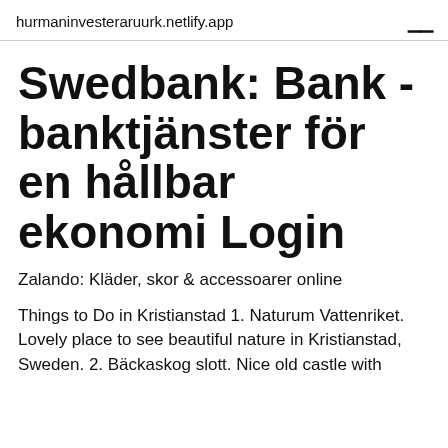hurmaninvesteraruurk.netlify.app
Swedbank: Bank - banktjänster för en hållbar ekonomi Login
Zalando: Kläder, skor & accessoarer online
Things to Do in Kristianstad 1. Naturum Vattenriket. Lovely place to see beautiful nature in Kristianstad, Sweden. 2. Bäckaskog slott. Nice old castle with